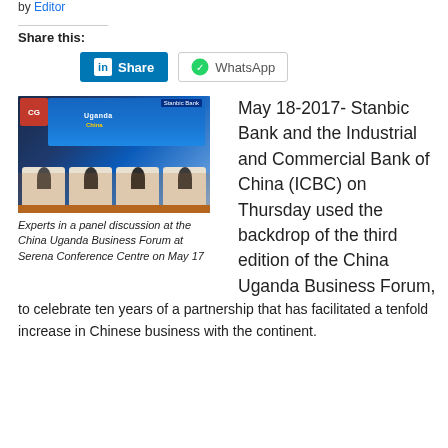by Editor
Share this:
[Figure (other): LinkedIn Share button and WhatsApp share button]
[Figure (photo): Experts in a panel discussion at the China Uganda Business Forum at Serena Conference Centre on May 17]
Experts in a panel discussion at the China Uganda Business Forum at Serena Conference Centre on May 17
May 18-2017- Stanbic Bank and the Industrial and Commercial Bank of China (ICBC) on Thursday used the backdrop of the third edition of the China Uganda Business Forum, to celebrate ten years of a partnership that has facilitated a tenfold increase in Chinese business with the continent.